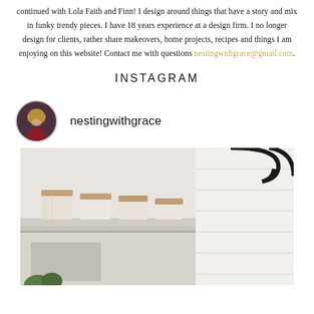continued with Lola Faith and Finn! I design around things that have a story and mix in funky trendy pieces. I have 18 years experience at a design firm. I no longer design for clients, rather share makeovers, home projects, recipes and things I am enjoying on this website! Contact me with questions nestingwithgrace@gmail.com.
INSTAGRAM
[Figure (photo): Circular avatar photo of a blonde woman in a red top, used as Instagram profile picture for nestingwithgrace]
nestingwithgrace
[Figure (photo): Instagram photo showing top of a white cabinet/hutch with cream fabric storage baskets with leather handles, shiplap wall visible on the right, and a black circular decorative object at top]